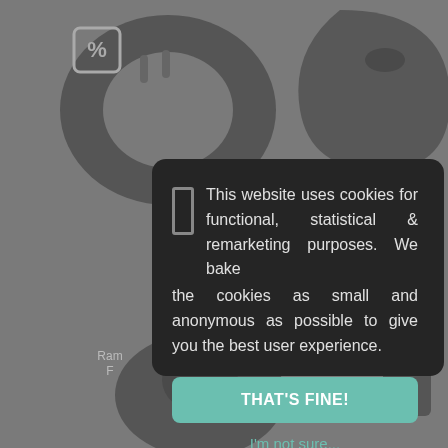[Figure (screenshot): Background of a product website showing dark earphone/earbud product images on a grey background, partially obscured by a cookie consent modal. A percentage/discount icon is visible in the top-left. Partial product labels visible on left and right sides. Two earbud shape images visible at bottom.]
This website uses cookies for functional, statistical & remarketing purposes. We bake the cookies as small and anonymous as possible to give you the best user experience.
THAT'S FINE!
I'm not sure...